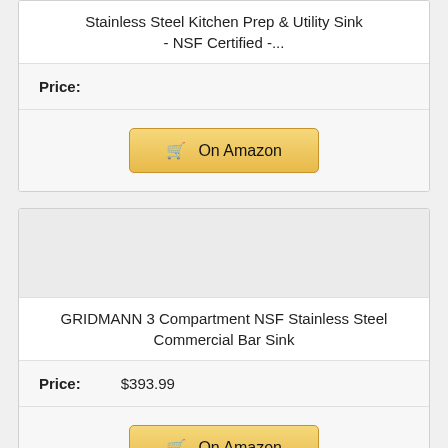Stainless Steel Kitchen Prep & Utility Sink - NSF Certified -...
Price:
[Figure (other): On Amazon button with shopping cart icon]
[Figure (other): Product image placeholder (gray box)]
GRIDMANN 3 Compartment NSF Stainless Steel Commercial Bar Sink
Price: $393.99
[Figure (other): On Amazon button with shopping cart icon]
10. GRIDMANN